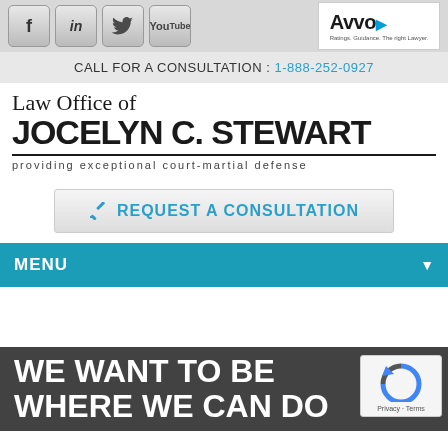[Figure (screenshot): Social media icons: Facebook, LinkedIn, Twitter, YouTube buttons in gray metallic style]
[Figure (logo): Avvo logo - Ratings. Guidance. The right Lawyer.]
CALL FOR A CONSULTATION : 1-888-252-0927
Law Office of JOCELYN C. STEWART
providing exceptional court-martial defense
REQUEST A CONSULTATION
MENU
WE WANT TO BE WHERE WE CAN DO